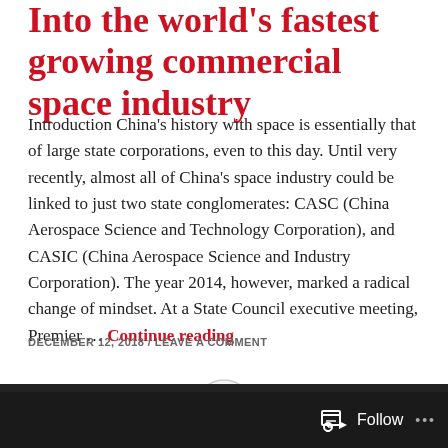Into the world's fastest growing commercial space industry
Introduction China's history with space is essentially that of large state corporations, even to this day. Until very recently, almost all of China's space industry could be linked to just two state conglomerates: CASC (China Aerospace Science and Technology Corporation), and CASIC (China Aerospace Science and Industry Corporation). The year 2014, however, marked a radical change of mindset. At a State Council executive meeting, Premier … Continue reading
DECEMBER 12, 2018 / LEAVE A COMMENT
[Figure (other): Ellipsis button circle with three dots]
Follow ...